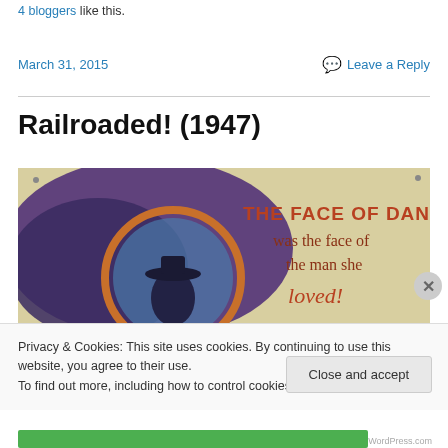4 bloggers like this.
March 31, 2015   Leave a Reply
Railroaded! (1947)
[Figure (illustration): Movie poster for Railroaded! (1947) showing a man in a hat and the text: THE FACE OF DANGER was the face of the man she ...ed!]
Privacy & Cookies: This site uses cookies. By continuing to use this website, you agree to their use.
To find out more, including how to control cookies, see here: Cookie Policy
Close and accept